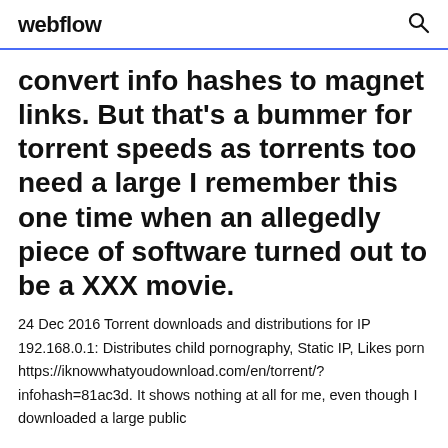webflow
convert info hashes to magnet links. But that's a bummer for torrent speeds as torrents too need a large I remember this one time when an allegedly piece of software turned out to be a XXX movie.
24 Dec 2016 Torrent downloads and distributions for IP 192.168.0.1: Distributes child pornography, Static IP, Likes porn https://iknowwhatyoudownload.com/en/torrent/?infohash=81ac3d. It shows nothing at all for me, even though I downloaded a large public